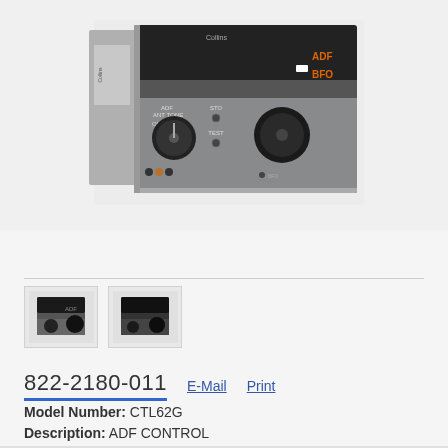[Figure (photo): Collins ADF control unit (CTL62G) — a square avionics device with a black digital display on top, labeled 'ADF' on the front panel. Controls include a mode knob (ANT/OFF/ADF/TONE), STO and TEST buttons, and a large frequency selector knob on the right. Orange LED indicators visible on the right side.]
[Figure (photo): Small thumbnail image 1: front view of the ADF control unit]
[Figure (photo): Small thumbnail image 2: alternate/rear view of the ADF control unit]
822-2180-011
E-Mail
Print
Model Number: CTL62G
Description: ADF CONTROL